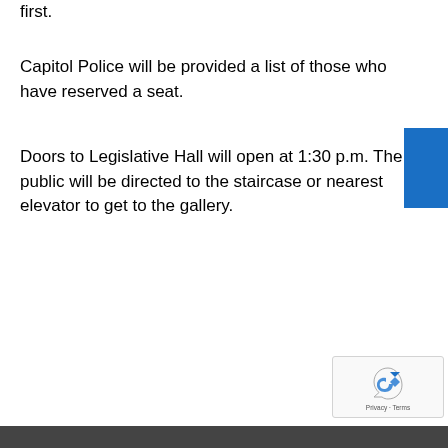first.
Capitol Police will be provided a list of those who have reserved a seat.
Doors to Legislative Hall will open at 1:30 p.m. The public will be directed to the staircase or nearest elevator to get to the gallery.